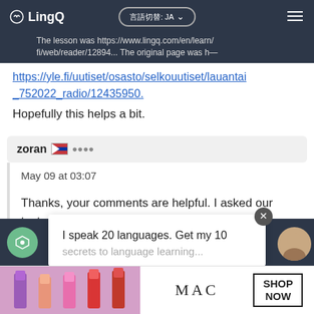The lesson was https://www.lingq.com/en/learn/fi/web/reader/12894... The original page was https://yle.fi/uutiset/osasto/selkouutiset/lauantai_752022_radio/12435950.
https://yle.fi/uutiset/osasto/selkouutiset/lauantai_752022_radio/12435950.
Hopefully this helps a bit.
zoran 🇷🇸 ●●●●
May 09 at 03:07
Thanks, your comments are helpful. I asked our testers to check your updates and provided URLs and try to find a way to identify the issue.
LingQ●●●● I speak 20 languages. Get my 10 secrets to language learning...